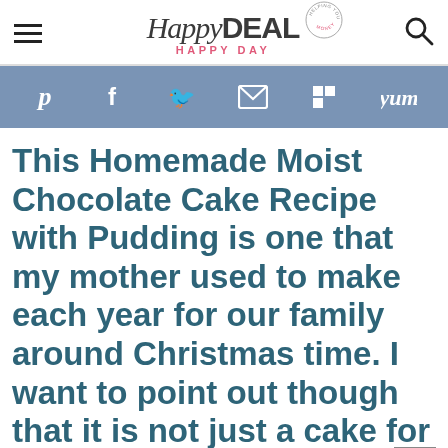Happy Deal Happy Day — site header with logo, hamburger menu, and search icon
[Figure (infographic): Social sharing bar with icons for Pinterest, Facebook, Twitter, Email, Flipboard, and Yummly on a steel-blue background]
This Homemade Moist Chocolate Cake Recipe with Pudding is one that my mother used to make each year for our family around Christmas time. I want to point out though that it is not just a cake for Christmas